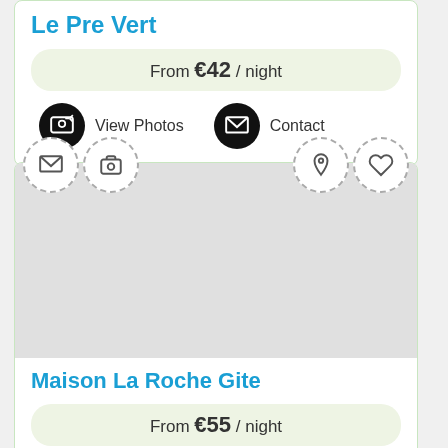Le Pre Vert
From €42 / night
View Photos
Contact
[Figure (screenshot): Accommodation listing card for Maison La Roche Gite showing icon buttons (mail, camera, map pin, heart) at top, a grey image placeholder, property title, price, and action buttons]
Maison La Roche Gite
From €55 / night
Book Now
Contact